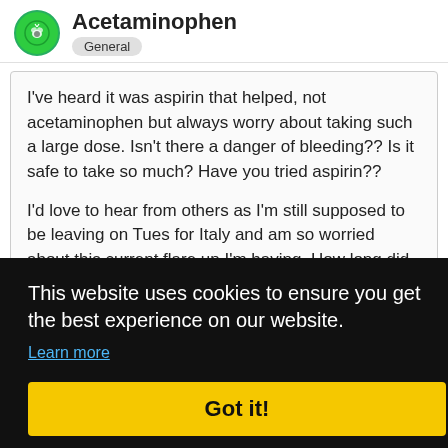Acetaminophen — General
I've heard it was aspirin that helped, not acetaminophen but always worry about taking such a large dose. Isn't there a danger of bleeding?? Is it safe to take so much? Have you tried aspirin??
I'd love to hear from others as I'm still supposed to be leaving on Tues for Italy and am so worried about this current flare up I'm having. How long did it take to get [continued]
This website uses cookies to ensure you get the best experience on our website.
Learn more
Got it!
Lauren